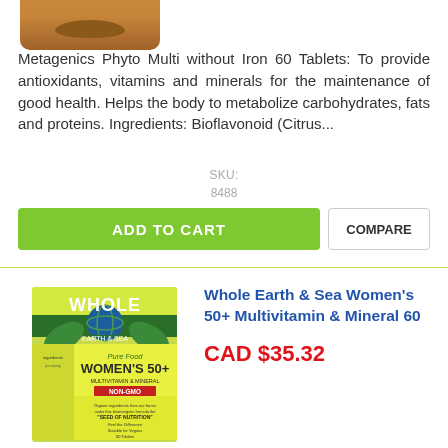[Figure (photo): Partial view of a supplement bottle (amber/brown color) shown from the top portion only]
Metagenics Phyto Multi without Iron 60 Tablets: To provide antioxidants, vitamins and minerals for the maintenance of good health. Helps the body to metabolize carbohydrates, fats and proteins. Ingredients: Bioflavonoid (Citrus...
SKU:
8488
ADD TO CART
COMPARE
[Figure (photo): Product box for Whole Earth & Sea Pure Food Women's 50+ Multivitamin & Mineral NON-GMO, 60 Tablets, with green and yellow packaging featuring a globe graphic]
Whole Earth & Sea Women's 50+ Multivitamin & Mineral 60
CAD $35.32